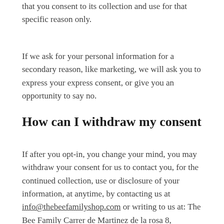that you consent to its collection and use for that specific reason only.
If we ask for your personal information for a secondary reason, like marketing, we will ask you to express your express consent, or give you an opportunity to say no.
How can I withdraw my consent
If after you opt-in, you change your mind, you may withdraw your consent for us to contact you, for the continued collection, use or disclosure of your information, at anytime, by contacting us at info@thebeefamilyshop.com or writing to us at: The Bee Family Carrer de Martinez de la rosa 8, Barcelona, CT, 08012, Spain.